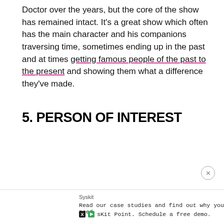Doctor over the years, but the core of the show has remained intact. It's a great show which often has the main character and his companions traversing time, sometimes ending up in the past and at times getting famous people of the past to the present and showing them what a difference they've made.
5. PERSON OF INTEREST
Syskit Read our case studies and find out why you need sKit Point. Schedule a free demo.